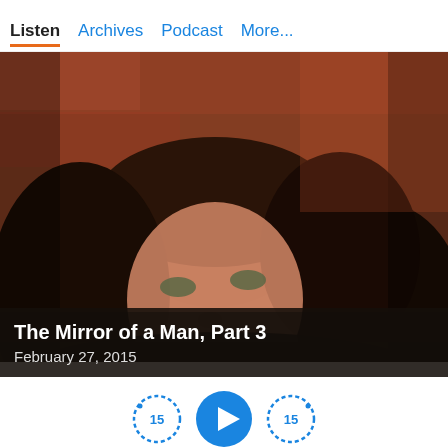Listen  Archives  Podcast  More...
[Figure (photo): Close-up photo of a middle-aged woman with dark curly/wavy hair and bangs, light skin, greenish eyes, slight smile, wearing dark clothing. Background shows a reddish-brick wall pattern out of focus.]
The Mirror of a Man, Part 3
February 27, 2015
[Figure (other): Audio player controls: rewind 15 seconds button (circular with '15' and dot markers), play button (large blue circle with right-pointing triangle), fast-forward 15 seconds button (circular with '15' and dot markers)]